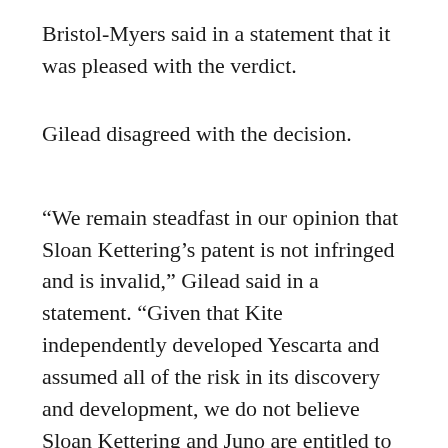Bristol-Myers said in a statement that it was pleased with the verdict.
Gilead disagreed with the decision.
“We remain steadfast in our opinion that Sloan Kettering’s patent is not infringed and is invalid,” Gilead said in a statement. “Given that Kite independently developed Yescarta and assumed all of the risk in its discovery and development, we do not believe Sloan Kettering and Juno are entitled to any level of damages.”
Gilead said it expected to seek to undo the verdict through post-trial motions and an appeal.